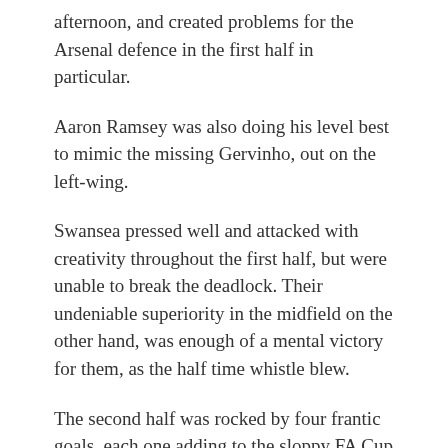afternoon, and created problems for the Arsenal defence in the first half in particular.
Aaron Ramsey was also doing his level best to mimic the missing Gervinho, out on the left-wing.
Swansea pressed well and attacked with creativity throughout the first half, but were unable to break the deadlock. Their undeniable superiority in the midfield on the other hand, was enough of a mental victory for them, as the half time whistle blew.
The second half was rocked by four frantic goals, each one adding to the sloppy FA Cup drama. Swansea gradually allowed Arsenal back into the game, more so via their own fatigue rather than anything else.
Michu, who had scored twice when Swansea last visited the Emirates Stadium, came off the bench and took just over a